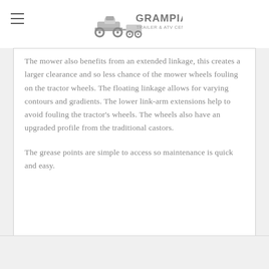GRAMPIAN TRAILER & ATV CENTRE
The mower also benefits from an extended linkage, this creates a larger clearance and so less chance of the mower wheels fouling on the tractor wheels. The floating linkage allows for varying contours and gradients. The lower link-arm extensions help to avoid fouling the tractor's wheels. The wheels also have an upgraded profile from the traditional castors.
The grease points are simple to access so maintenance is quick and easy.